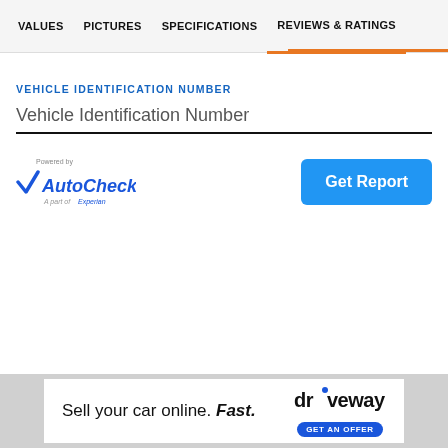VALUES | PICTURES | SPECIFICATIONS | REVIEWS & RATINGS
VEHICLE IDENTIFICATION NUMBER
Vehicle Identification Number
[Figure (logo): AutoCheck logo — Powered by AutoCheck, A part of Experian]
Get Report
Sell your car online. Fast. driveway GET AN OFFER